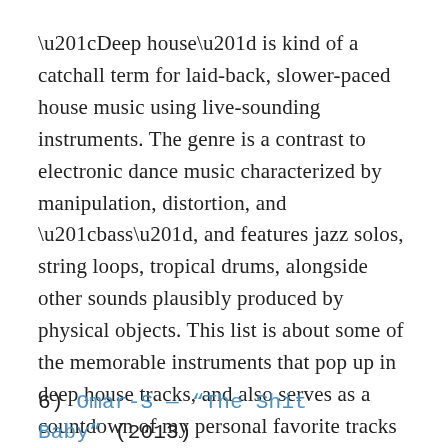“Deep house” is kind of a catchall term for laid-back, slower-paced house music using live-sounding instruments. The genre is a contrast to electronic dance music characterized by manipulation, distortion, and “bass”, and features jazz solos, string loops, tropical drums, alongside other sounds plausibly produced by physical objects. This list is about some of the memorable instruments that pop up in deep house tracks, and also serves as a countdown of my personal favorite tracks related to the genre.
6) Omar-S — “The Shit Baby” (2013)